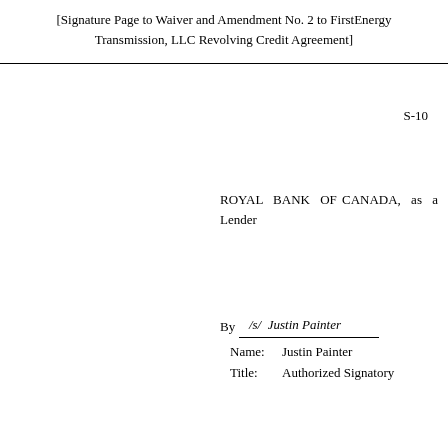[Signature Page to Waiver and Amendment No. 2 to FirstEnergy Transmission, LLC Revolving Credit Agreement]
S-10
ROYAL BANK OF CANADA, as a Lender
By /s/ Justin Painter
Name: Justin Painter
Title: Authorized Signatory